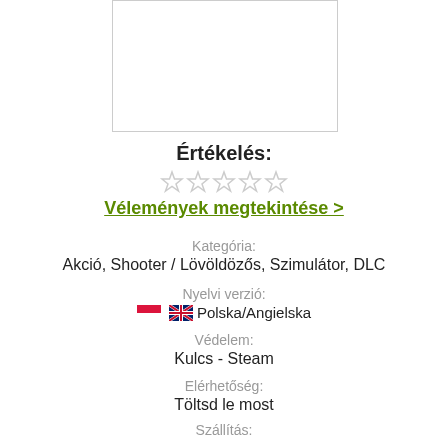[Figure (other): Product image placeholder box with border]
Értékelés:
[Figure (other): Five empty/gray star rating icons]
Vélemények megtekintése >
Kategória:
Akció, Shooter / Lövöldözős, Szimulátor, DLC
Nyelvi verzió:
Polska/Angielska
Védelem:
Kulcs - Steam
Elérhetőség:
Töltsd le most
Szállítás:
Digitális terjesztés